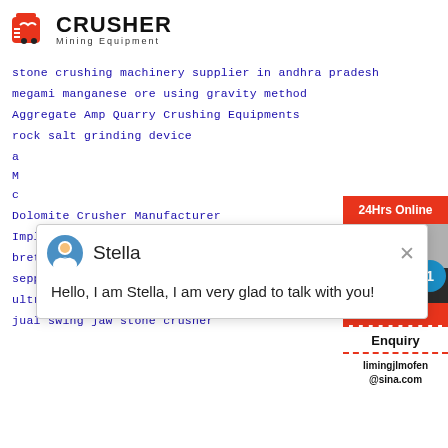[Figure (logo): Crusher Mining Equipment logo with red shopping bag icon and bold CRUSHER text]
stone crushing machinery supplier in andhra pradesh
megami manganese ore using gravity method
Aggregate Amp Quarry Crushing Equipments
rock salt grinding device
a
M
c
Dolomite Crusher Manufacturer
Implementation Of Zig Bee For Coal Mine Safe
breton artificial quartz stone machine
seppimidi pierre125 stone crusher
ultra wet grinder litres price
jual swing jaw stone crusher
[Figure (screenshot): Chat popup with Stella avatar saying Hello I am Stella I am very glad to talk with you]
[Figure (infographic): Sidebar with 24Hrs Online badge, Need suggestions chat area, Chat Now button, Enquiry section, limingjlmofen@sina.com email, notification circle with 1]